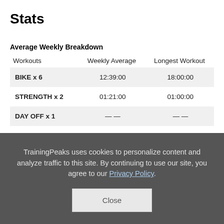Stats
Average Weekly Breakdown
| Workouts | Weekly Average | Longest Workout |
| --- | --- | --- |
| BIKE x 6 | 12:39:00 | 18:00:00 |
| STRENGTH x 2 | 01:21:00 | 01:00:00 |
| DAY OFF x 1 | — — | — — |
Training Load By Week
TrainingPeaks uses cookies to personalize content and analyze traffic to this site. By continuing to use our site, you agree to our Privacy Policy.
Close